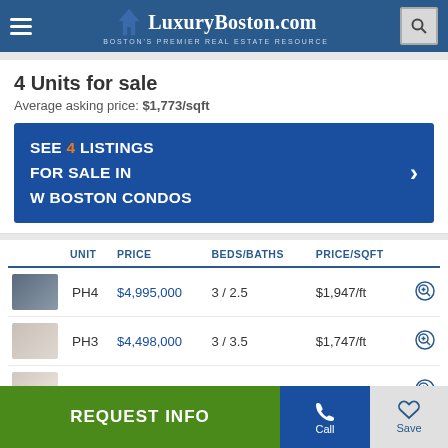LuxuryBoston.com — Boston's Premier Real Estate Resource
4 Units for sale
Average asking price: $1,773/sqft
SEE 4 LISTINGS FOR SALE IN W BOSTON CONDOS
|  | UNIT | PRICE | BEDS/BATHS | PRICE/SQFT |  |
| --- | --- | --- | --- | --- | --- |
| [img] | PH4 | $4,995,000 | 3 / 2.5 | $1,947/ft | 🔍 |
| [img] | PH3 | $4,498,000 | 3 / 3.5 | $1,747/ft | 🔍 |
| [img] | 24F | $1,495,000 | 1 / 1.5 | $1,744/ft | 🔍 |
| [img] | 22A | $1,199,000 | 1 / 1 | $1,369/ft | 🔍 |
REQUEST INFO | Call | Save